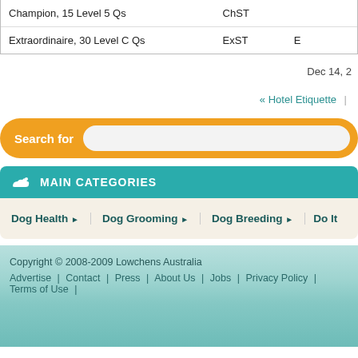|  | Abbr |  |
| --- | --- | --- |
| Champion, 15 Level 5 Qs | ChST |  |
| Extraordinaire, 30 Level C Qs | ExST | E |
Dec 14, 2
« Hotel Etiquette  |
Search for
MAIN CATEGORIES
Dog Health ▸
Dog Grooming ▸
Dog Breeding ▸
Do It
Copyright © 2008-2009 Lowchens Australia
Advertise | Contact | Press | About Us | Jobs | Privacy Policy | Terms of Use |